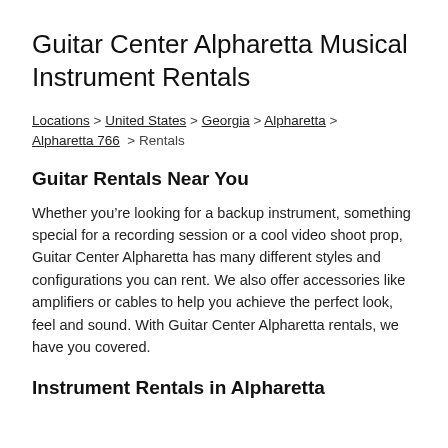Guitar Center Alpharetta Musical Instrument Rentals
Locations > United States > Georgia > Alpharetta > Alpharetta 766 > Rentals
Guitar Rentals Near You
Whether you’re looking for a backup instrument, something special for a recording session or a cool video shoot prop, Guitar Center Alpharetta has many different styles and configurations you can rent. We also offer accessories like amplifiers or cables to help you achieve the perfect look, feel and sound. With Guitar Center Alpharetta rentals, we have you covered.
Instrument Rentals in Alpharetta